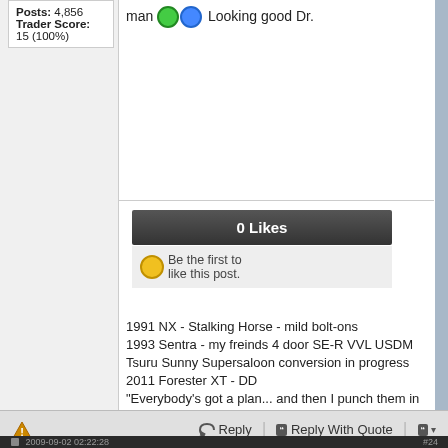Posts: 4,856
Trader Score: 15 (100%)
man Looking good Dr.
0 Likes
Be the first to like this post.
1991 NX - Stalking Horse - mild bolt-ons
1993 Sentra - my freinds 4 door SE-R VVL USDM Tsuru Sunny Supersaloon conversion in progress
2011 Forester XT - DD
"Everybody's got a plan... and then I punch them in the mouth." Mike Tyson
Reply | Reply With Quote | 2009-09-02 02:22:28 #24